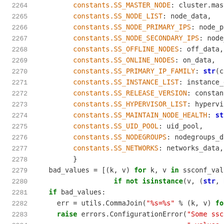Source code listing lines 2264-2289
2264  constants.SS_MASTER_NODE: cluster.master_node,
2265  constants.SS_NODE_LIST: node_data,
2266  constants.SS_NODE_PRIMARY_IPS: node_pri_ips_data,
2267  constants.SS_NODE_SECONDARY_IPS: node_snd_ips_dat
2268  constants.SS_OFFLINE_NODES: off_data,
2269  constants.SS_ONLINE_NODES: on_data,
2270  constants.SS_PRIMARY_IP_FAMILY: str(cluster.prima
2271  constants.SS_INSTANCE_LIST: instance_data,
2272  constants.SS_RELEASE_VERSION: constants.RELEASE_V
2273  constants.SS_HYPERVISOR_LIST: hypervisor_list,
2274  constants.SS_MAINTAIN_NODE_HEALTH: str(cluster.ma
2275  constants.SS_UID_POOL: uid_pool,
2276  constants.SS_NODEGROUPS: nodegroups_data,
2277  constants.SS_NETWORKS: networks_data,
2278  }
2279  bad_values = [(k, v) for k, v in ssconf_values.item
2280              if not isinstance(v, (str, basestring
2281  if bad_values:
2282    err = utils.CommaJoin("%s=%s" % (k, v) for k, v i
2283    raise errors.ConfigurationError("Some ssconf key(
2284                                    " values: %s" % e
2285  return ssconf_values
2286
2287  @locking.ssynchronized(_config_lock, shared=1)
2288  def GetSsconfValues(self):
2289    """Wrapper using lock around _UnlockedGetSsconf(